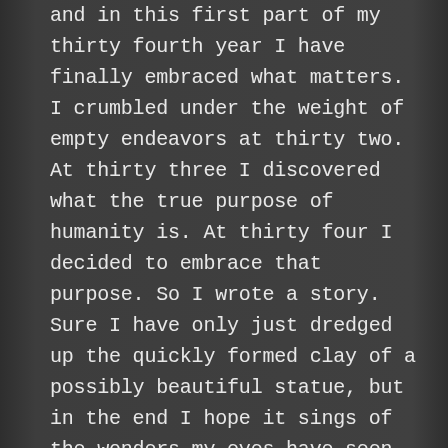and in this first part of my thirty fourth year I have finally embraced what matters. I crumbled under the weight of empty endeavors at thirty two. At thirty three I discovered what the true purpose of humanity is. At thirty four I decided to embrace that purpose. So I wrote a story. Sure I have only just dredged up the quickly formed clay of a possibly beautiful statue, but in the end I hope it sings of the wonders my eyes have seen, the glory of God and the perfection of his son.

What have I learned from this effort so far? That my greatest craft that I hope to present to the world and to God is my